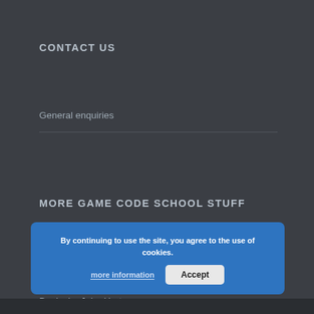CONTACT US
General enquiries
MORE GAME CODE SCHOOL STUFF
Get our newsletter
Books by John Horton
By continuing to use the site, you agree to the use of cookies.
more information   Accept